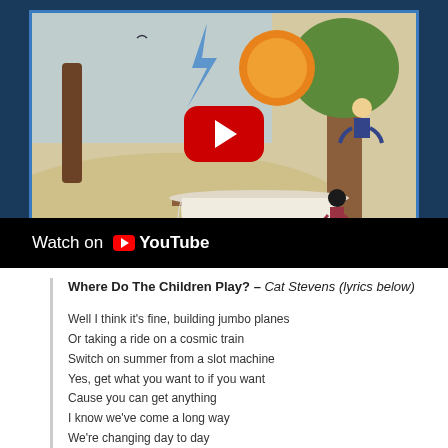[Figure (screenshot): YouTube video thumbnail showing an illustrated album cover for Cat Stevens' 'Tea for the Tillerman' with a YouTube play button overlay. The illustration depicts children playing near a large tree with a table covered in a white cloth and an orange/sun motif. Dark blue sidebar visible on the left.]
Watch on YouTube
Where Do The Children Play? – Cat Stevens (lyrics below)

Well I think it's fine, building jumbo planes
Or taking a ride on a cosmic train
Switch on summer from a slot machine
Yes, get what you want to if you want
Cause you can get anything
I know we've come a long way
We're changing day to day
But tell me, where do the children play?